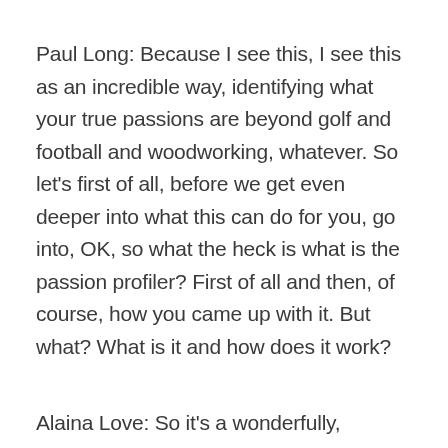Paul Long: Because I see this, I see this as an incredible way, identifying what your true passions are beyond golf and football and woodworking, whatever. So let's first of all, before we get even deeper into what this can do for you, go into, OK, so what the heck is what is the passion profiler? First of all and then, of course, how you came up with it. But what? What is it and how does it work?
Alaina Love: So it's a wonderfully, scientifically